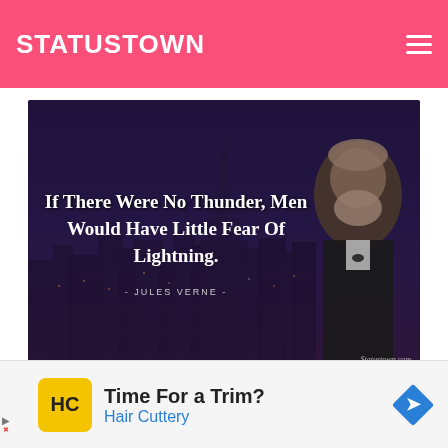STATUSTOWN
[Figure (illustration): Dark night cityscape with skyscraper spire, overlaid with bold white serif quote text and a sepia-toned portrait of Jules Verne on the right. Quote: 'If There Were No Thunder, Men Would Have Little Fear Of Lightning.' Attribution: JULES VERNE. Watermark: Statustown.com]
If there were no thunder, men would have little fear of lightning.
Time For a Trim?
Hair Cuttery